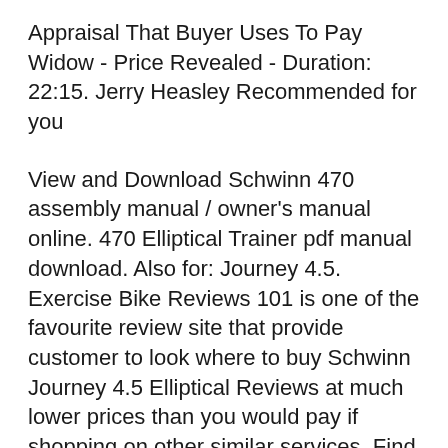Appraisal That Buyer Uses To Pay Widow - Price Revealed - Duration: 22:15. Jerry Heasley Recommended for you
View and Download Schwinn 470 assembly manual / owner's manual online. 470 Elliptical Trainer pdf manual download. Also for: Journey 4.5. Exercise Bike Reviews 101 is one of the favourite review site that provide customer to look where to buy Schwinn Journey 4.5 Elliptical Reviews at much lower prices than you would pay if shopping on other similar services. Find and buy Schwinn Journey 4.5 Elliptical Reviews from Exercise Bike Reviews 101 suggestion with low prices and good quality all over the world.